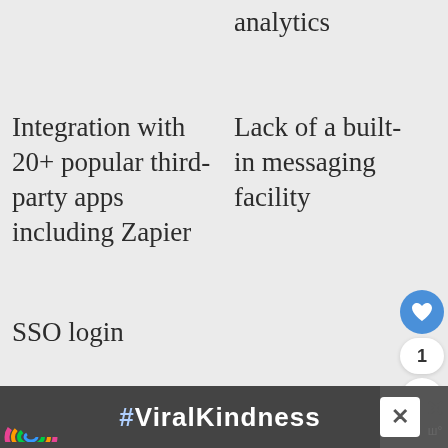analytics
Integration with 20+ popular third-party apps including Zapier
Lack of a built-in messaging facility
SSO login
[Figure (screenshot): Floating UI buttons: heart/like button (blue circle), count '1', and share button (white circle with share icon)]
[Figure (screenshot): Advertisement banner at bottom: dark background with rainbow illustration and '#ViralKindness' text, with close buttons]